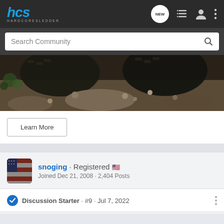[Figure (logo): HCS HardcoreSledder logo — blue italic bold letters 'hcs' with 'HARDCORESLEDDER' subtitle below]
[Figure (screenshot): Navigation bar with NEW chat bubble icon, list icon, user icon, and three-dot menu icon]
Search Community
[Figure (photo): Close-up photo of off-road vehicle tires on rocky/muddy terrain with green foliage in background]
Learn More
snoging · Registered 🇺🇸
Joined Dec 21, 2008 · 2,404 Posts
Discussion Starter · #9 · Jul 7, 2022